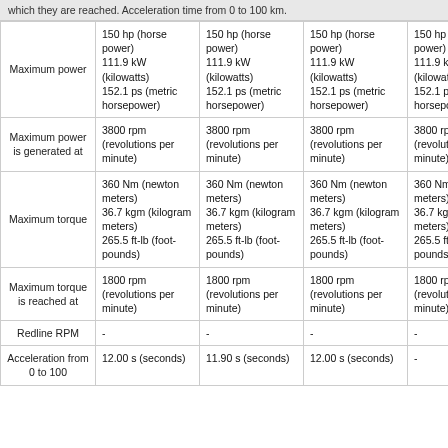which they are reached. Acceleration time from 0 to 100 km.
|  |  |  |  |  |
| --- | --- | --- | --- | --- |
| Maximum power | 150 hp (horse power) 111.9 kW (kilowatts) 152.1 ps (metric horsepower) | 150 hp (horse power) 111.9 kW (kilowatts) 152.1 ps (metric horsepower) | 150 hp (horse power) 111.9 kW (kilowatts) 152.1 ps (metric horsepower) | 150 hp (horse power) 111.9 kW (kilowatts) 152.1 ps (metric horsepower) |
| Maximum power is generated at | 3800 rpm (revolutions per minute) | 3800 rpm (revolutions per minute) | 3800 rpm (revolutions per minute) | 3800 rpm (revolutions per minute) |
| Maximum torque | 360 Nm (newton meters) 36.7 kgm (kilogram meters) 265.5 ft-lb (foot-pounds) | 360 Nm (newton meters) 36.7 kgm (kilogram meters) 265.5 ft-lb (foot-pounds) | 360 Nm (newton meters) 36.7 kgm (kilogram meters) 265.5 ft-lb (foot-pounds) | 360 Nm (newton meters) 36.7 kgm (kilogram meters) 265.5 ft-lb (foot-pounds) |
| Maximum torque is reached at | 1800 rpm (revolutions per minute) | 1800 rpm (revolutions per minute) | 1800 rpm (revolutions per minute) | 1800 rpm (revolutions per minute) |
| Redline RPM | - | - | - | - |
| Acceleration from 0 to 100 | 12.00 s (seconds) | 11.90 s (seconds) | 12.00 s (seconds) | - |